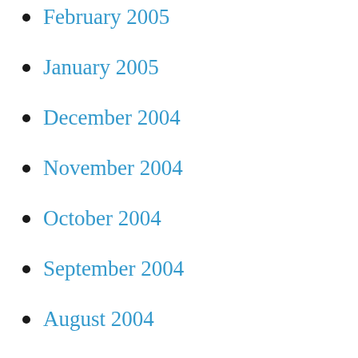February 2005
January 2005
December 2004
November 2004
October 2004
September 2004
August 2004
July 2004
June 2004
May 2004
April 2004
March 2004
February 2004
January 2004
December 2003
November 2003
October 2003